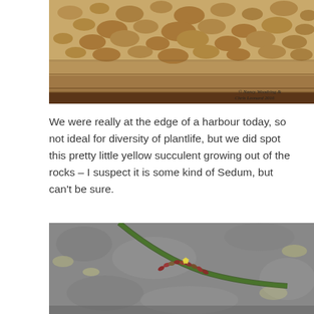[Figure (photo): Close-up photograph of eroded sandstone rock with honeycomb weathering patterns, pitted and layered surface texture in beige/tan tones]
We were really at the edge of a harbour today, so not ideal for diversity of plantlife, but we did spot this pretty little yellow succulent growing out of the rocks – I suspect it is some kind of Sedum, but can't be sure.
[Figure (photo): Close-up photograph of small yellow succulent plant (possibly Sedum) growing in a crack between grey granite rocks, with reddish-green fleshy leaves and a small yellow star-shaped flower, with moss visible along the rock crack]